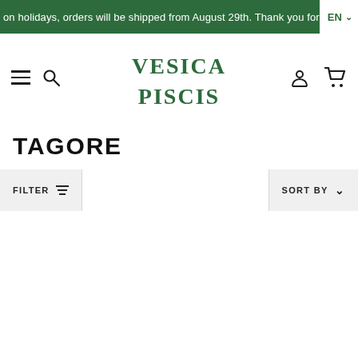on holidays, orders will be shipped from August 29th. Thank you for
[Figure (logo): Vesica Piscis logo in green decorative font]
TAGORE
FILTER   SORT BY